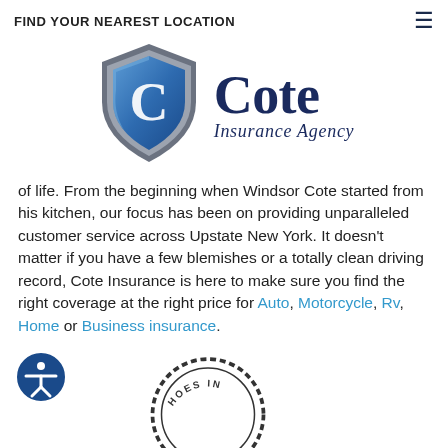FIND YOUR NEAREST LOCATION
[Figure (logo): Cote Insurance Agency logo with shield icon bearing letter C, and text 'Cote Insurance Agency']
of life. From the beginning when Windsor Cote started from his kitchen, our focus has been on providing unparalleled customer service across Upstate New York. It doesn't matter if you have a few blemishes or a totally clean driving record, Cote Insurance is here to make sure you find the right coverage at the right price for Auto, Motorcycle, Rv, Home or Business insurance.
[Figure (illustration): Accessibility icon - person in circle outline]
[Figure (illustration): Partial circular badge/seal visible at bottom of page]